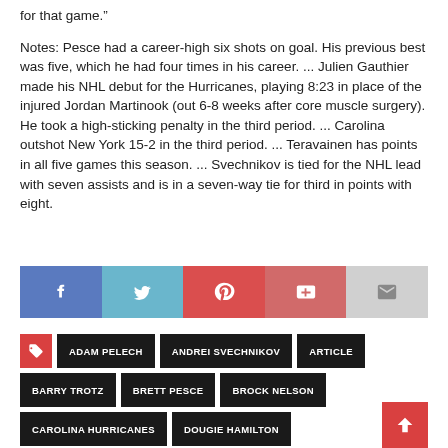for that game.”
Notes: Pesce had a career-high six shots on goal. His previous best was five, which he had four times in his career. ... Julien Gauthier made his NHL debut for the Hurricanes, playing 8:23 in place of the injured Jordan Martinook (out 6-8 weeks after core muscle surgery). He took a high-sticking penalty in the third period. ... Carolina outshot New York 15-2 in the third period. ... Teravainen has points in all five games this season. ... Svechnikov is tied for the NHL lead with seven assists and is in a seven-way tie for third in points with eight.
[Figure (infographic): Social share buttons: Facebook, Twitter, Pinterest, Google+, Email]
ADAM PELECH | ANDREI SVECHNIKOV | ARTICLE | BARRY TROTZ | BRETT PESCE | BROCK NELSON | CAROLINA HURRICANES | DOUGIE HAMILTON